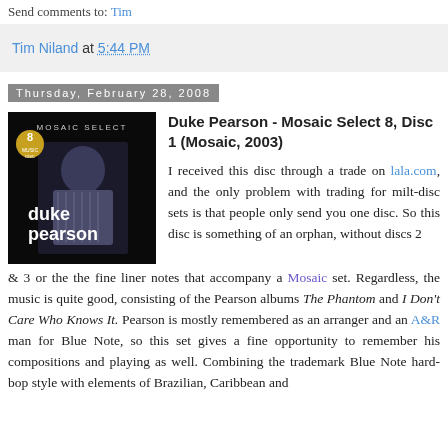Send comments to: Tim
Tim Niland at 5:44 PM
Thursday, February 28, 2008
Duke Pearson - Mosaic Select 8, Disc 1 (Mosaic, 2003)
[Figure (photo): Album cover for Duke Pearson Mosaic Select 8, showing a man playing piano against a dark background with text 'MOSAIC SELECT' at top and 'duke pearson' in large text]
I received this disc through a trade on lala.com, and the only problem with trading for milt-disc sets is that people only send you one disc. So this disc is something of an orphan, without discs 2 & 3 or the the fine liner notes that accompany a Mosaic set. Regardless, the music is quite good, consisting of the Pearson albums The Phantom and I Don't Care Who Knows It. Pearson is mostly remembered as an arranger and an A&R man for Blue Note, so this set gives a fine opportunity to remember his compositions and playing as well. Combining the trademark Blue Note hard-bop style with elements of Brazilian, Caribbean and